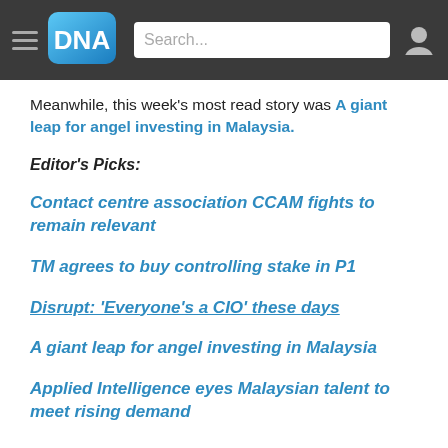DNA — Search — User icon
Meanwhile, this week's most read story was A giant leap for angel investing in Malaysia.
Editor's Picks:
Contact centre association CCAM fights to remain relevant
TM agrees to buy controlling stake in P1
Disrupt: 'Everyone's a CIO' these days
A giant leap for angel investing in Malaysia
Applied Intelligence eyes Malaysian talent to meet rising demand